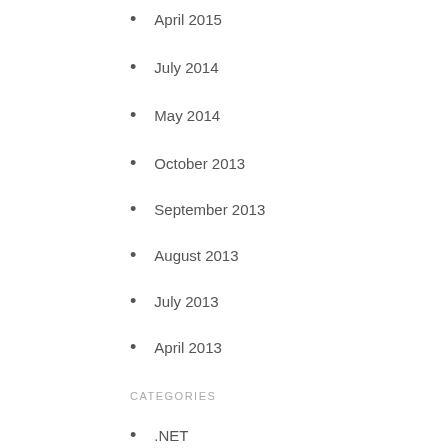April 2015
July 2014
May 2014
October 2013
September 2013
August 2013
July 2013
April 2013
CATEGORIES
.NET
Angular
ASP.NET MVC
CodeProject
Gotchas
JavaScript
OOP